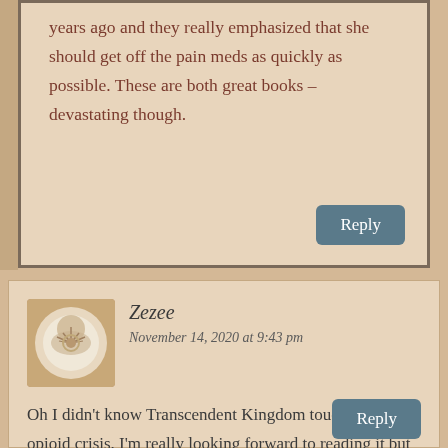years ago and they really emphasized that she should get off the pain meds as quickly as possible. These are both great books – devastating though.
Reply
Zezee
November 14, 2020 at 9:43 pm
Oh I didn't know Transcendent Kingdom touches on the opioid crisis. I'm really looking forward to reading it but am waiting for the paperback.
Reply